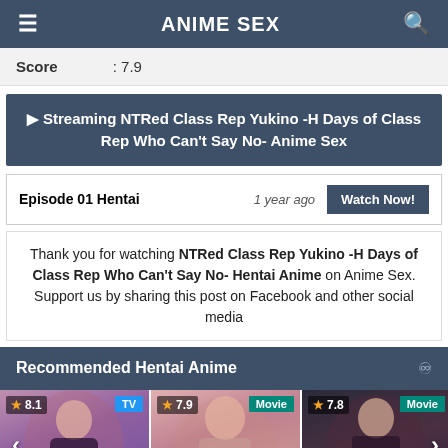ANIME SEX
Score : 7.9
▶ Streaming NTRed Class Rep Yukino -H Days of Class Rep Who Can't Say No- Anime Sex
Episode 01 Hentai   1 year ago   Watch Now!
Thank you for watching NTRed Class Rep Yukino -H Days of Class Rep Who Can't Say No- Hentai Anime on Anime Sex. Support us by sharing this post on Facebook and other social media
Recommended Hentai Anime
[Figure (screenshot): Three anime thumbnail images with score badges (8.1 TV, 7.9 Movie, 7.8 Movie) and navigation arrows]
★ 8.1  TV
★ 7.9  Movie
★ 7.8  Movie